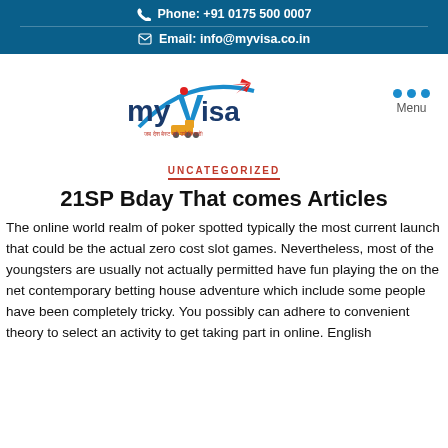Phone: +91 0175 500 0007
Email: info@myvisa.co.in
[Figure (logo): myVisa logo with airplane and truck, colorful text]
UNCATEGORIZED
21SP Bday That comes Articles
The online world realm of poker spotted typically the most current launch that could be the actual zero cost slot games. Nevertheless, most of the youngsters are usually not actually permitted have fun playing the on the net contemporary betting house adventure which include some people have been completely tricky. You possibly can adhere to convenient theory to select an activity to get taking part in online. English